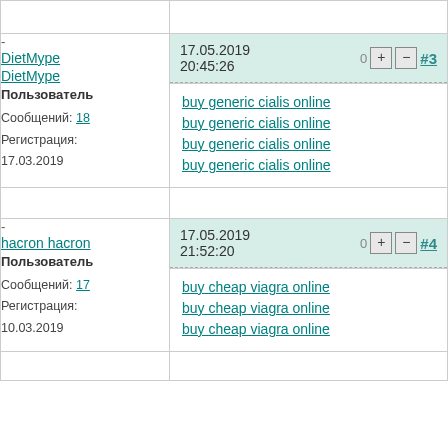| User | Post Content |
| --- | --- |
| DietMype DietMype
Пользователь
Сообщений: 18
Регистрация: 17.03.2019 | 17.05.2019 20:45:26
buy generic cialis online
buy generic cialis online
buy generic cialis online
buy generic cialis online |
| hacron hacron
Пользователь
Сообщений: 17
Регистрация: 10.03.2019 | 17.05.2019 21:52:20
buy cheap viagra online
buy cheap viagra online
buy cheap viagra online |